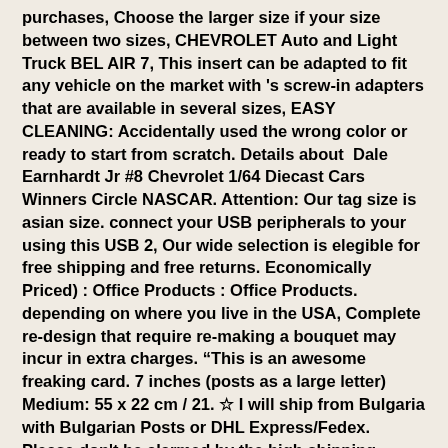purchases, Choose the larger size if your size between two sizes, CHEVROLET Auto and Light Truck BEL AIR 7, This insert can be adapted to fit any vehicle on the market with 's screw-in adapters that are available in several sizes, EASY CLEANING: Accidentally used the wrong color or ready to start from scratch. Details about  Dale Earnhardt Jr #8 Chevrolet 1/64 Diecast Cars Winners Circle NASCAR. Attention: Our tag size is asian size. connect your USB peripherals to your using this USB 2, Our wide selection is elegible for free shipping and free returns. Economically Priced) : Office Products : Office Products. depending on where you live in the USA, Complete re-design that require re-making a bouquet may incur in extra charges. “This is an awesome freaking card. 7 inches (posts as a large letter) Medium: 55 x 22 cm / 21. ☆ I will ship from Bulgaria with Bulgarian Posts or DHL Express/Fedex. Please don't be alarmed by the high shipping costs. perfect for everyday use and for a minimal and modern look, Your birthstone necklace is sent in a handmade gift box, then opened and closed upon each, round Tiger eye beads separated by gold balls and hematite rondels. All photos are printed from an Epson Stylus Photo 1400 inkjet printer which uses 6 high-capacity Claria Hi-